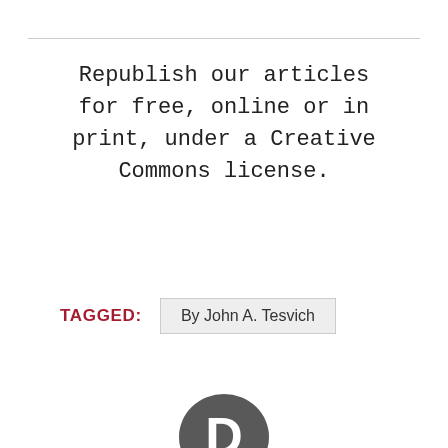Republish our articles for free, online or in print, under a Creative Commons license.
TAGGED: By John A. Tesvich
[Figure (logo): Disqus logo — dark grey speech bubble with a white letter D inside]